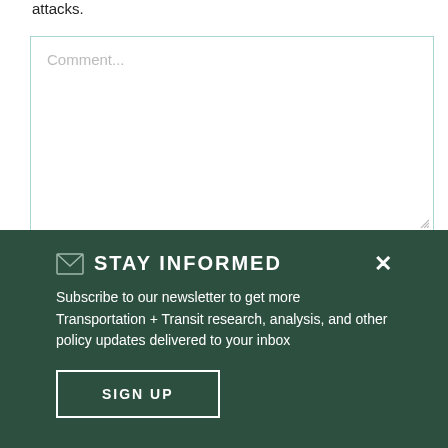attacks.
[Figure (other): Comment text input box with placeholder text 'Comment...' and a resize handle in the lower right corner]
STAY INFORMED
Subscribe to our newsletter to get more Transportation + Transit research, analysis, and other policy updates delivered to your inbox
SIGN UP